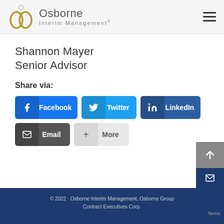[Figure (logo): Osborne Interim Management logo with circular interlocking rings icon and brand name]
Shannon Mayer
Senior Advisor
Share via:
[Figure (infographic): Social share buttons: Facebook, Twitter, LinkedIn, Email, More]
© 2022 · Osborne Interim Management, Osborne Group Contract Executives Corp.